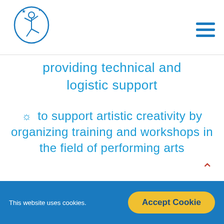[Figure (logo): Blue line art logo of a figure/dancer inside a head silhouette]
providing technical and logistic support
☼ to support artistic creativity by organizing training and workshops in the field of performing arts
This website uses cookies.   Accept Cookie